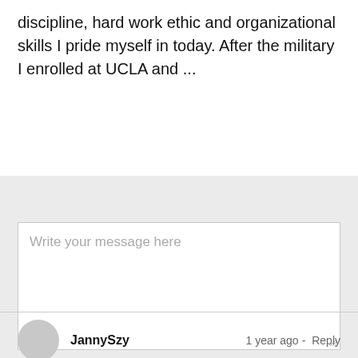discipline, hard work ethic and organizational skills I pride myself in today. After the military I enrolled at UCLA and ...
[Figure (other): Message input text area with placeholder text 'Write your message here']
JannySzy   1 year ago  -  Reply